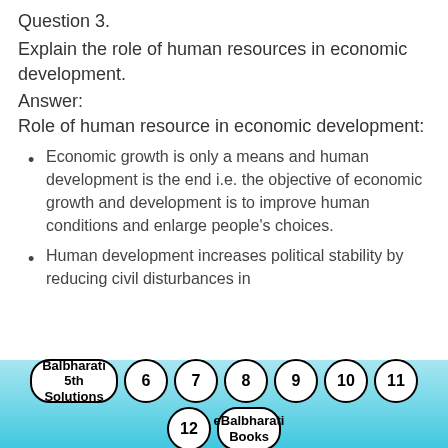Question 3.
Explain the role of human resources in economic development.
Answer:
Role of human resource in economic development:
Economic growth is only a means and human development is the end i.e. the objective of economic growth and development is to improve human conditions and enlarge people's choices.
Human development increases political stability by reducing civil disturbances in
Balbharati 5th Solutions  6  7  8  9  10  11  12  eBalbharati Books